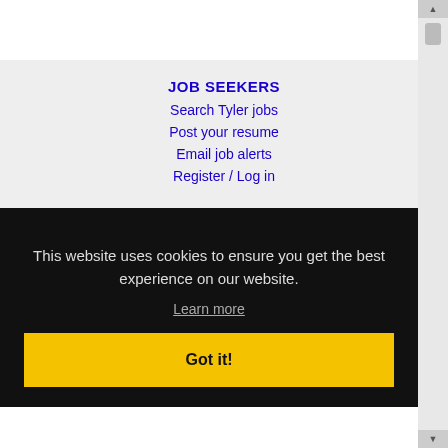JOB SEEKERS
Search Tyler jobs
Post your resume
Email job alerts
Register / Log in
This website uses cookies to ensure you get the best experience on our website.
Learn more
Got it!